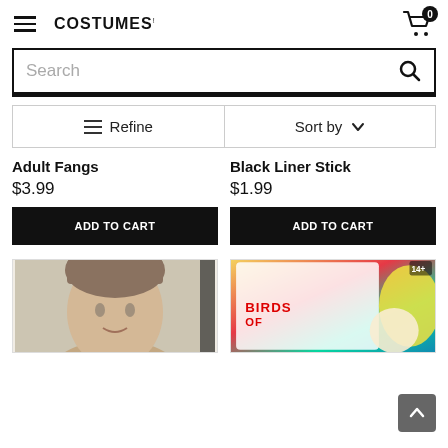COSTUMES | (hamburger menu, cart with 0 items)
Search
≡ Refine   Sort by ∨
Adult Fangs
$3.99
ADD TO CART
Black Liner Stick
$1.99
ADD TO CART
[Figure (photo): Man's face/head, top portion visible, used as product image]
[Figure (photo): Birds of Prey branded costume accessory packaging with colorful design and 14+ age badge]